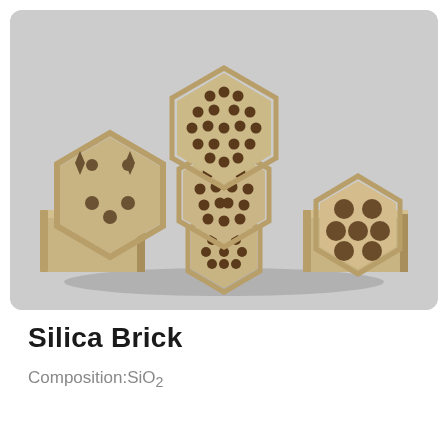[Figure (photo): Photo of multiple silica brick pieces of various shapes: hexagonal perforated discs with circular and star-shaped holes, a rectangular flat brick, and a cylindrical piece, all in a beige/tan color, arranged on a light grey background.]
Silica Brick
Composition:SiO2